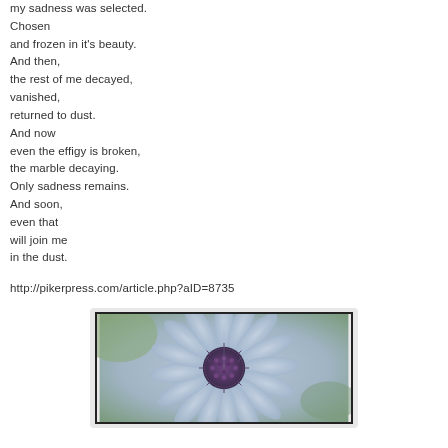my sadness was selected.
Chosen
and frozen in it's beauty.
And then,
the rest of me decayed,
vanished,
returned to dust.
And now
even the effigy is broken,
the marble decaying.
Only sadness remains.
And soon,
even that
will join me
in the dust.
http://pikerpress.com/article.php?aID=8735
[Figure (photo): Close-up photo of a purple/blue daisy flower with a dark spiky center disk, petals radiating outward, soft focus background of green and blue tones.]